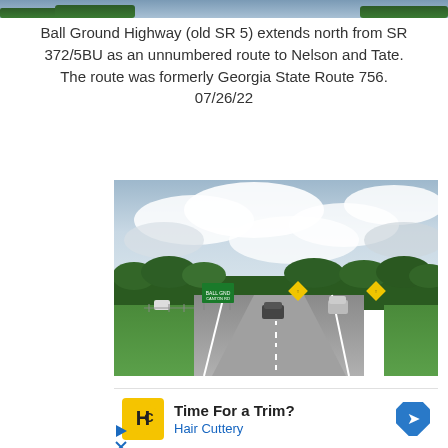[Figure (photo): Partial top edge of a road/highway photo cropped at the top of the page]
Ball Ground Highway (old SR 5) extends north from SR 372/5BU as an unnumbered route to Nelson and Tate. The route was formerly Georgia State Route 756. 07/26/22
[Figure (photo): Photograph taken from inside a vehicle on a multi-lane highway. Green directional sign visible on the left side of the road. Two yellow diamond warning signs visible on the right. Cars ahead on the road. Overcast sky with heavy clouds. Dense tree line in the background. Green grassy median visible.]
[Figure (other): Advertisement for Hair Cuttery showing logo, text 'Time For a Trim?' and 'Hair Cuttery' with a blue navigation arrow icon on the right.]